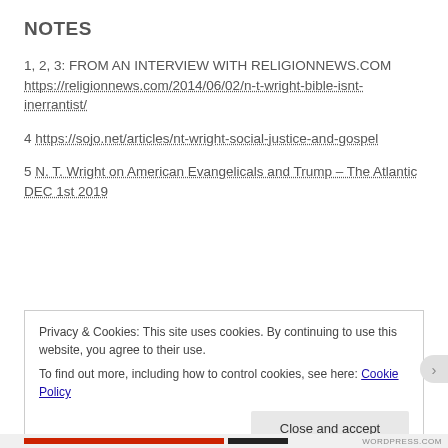NOTES
1, 2, 3: FROM AN INTERVIEW WITH RELIGIONNEWS.COM https://religionnews.com/2014/06/02/n-t-wright-bible-isnt-inerrantist/
4 https://sojo.net/articles/nt-wright-social-justice-and-gospel
5 N. T. Wright on American Evangelicals and Trump – The Atlantic DEC 1st 2019
Privacy & Cookies: This site uses cookies. By continuing to use this website, you agree to their use.
To find out more, including how to control cookies, see here: Cookie Policy